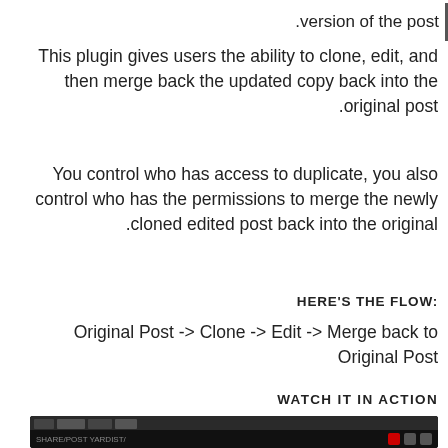.version of the post
This plugin gives users the ability to clone, edit, and then merge back the updated copy back into the original post.
You control who has access to duplicate, you also control who has the permissions to merge the newly cloned edited post back into the original.
HERE'S THE FLOW:
Original Post -> Clone -> Edit -> Merge back to Original Post
WATCH IT IN ACTION
[Figure (screenshot): Video thumbnail showing a person and title 'Duplicate and Merge Posts Word...' on dark background with video player controls]